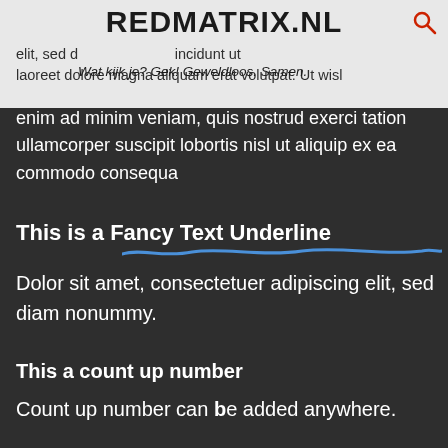REDMATRIX.NL
elit, sed d... laoreet dolore magna aliquam erat volutpat. Ut wisl enim ad minim veniam, quis nostrud exerci tation ullamcorper suscipit lobortis nisl ut aliquip ex ea commodo consequa
This is a Fancy Text Underline
Dolor sit amet, consectetuer adipiscing elit, sed diam nonummy.
This a count up number
Count up number can be added anywhere.